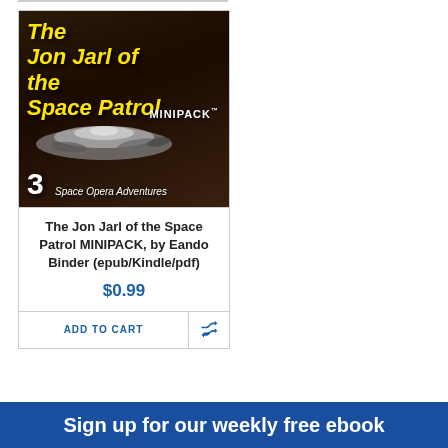[Figure (illustration): Book cover for 'The Jon Jarl of the Space Patrol MINIPACK' — black and dark brown background with yellow italic bold title text, white MINIPACK text, illustrated spaceship, large white '3' and italic 'Space Opera Adventures' text at the bottom]
The Jon Jarl of the Space Patrol MINIPACK, by Eando Binder (epub/Kindle/pdf)
$0.99
ADD TO CART
Sign up for our weekly free ebook